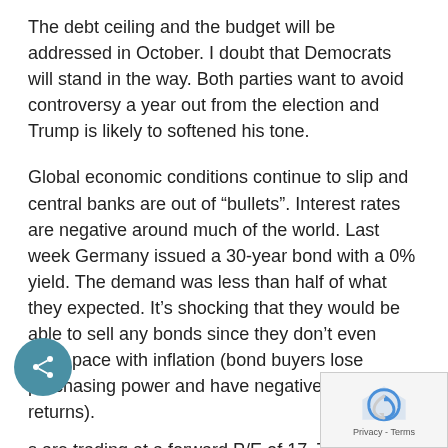The debt ceiling and the budget will be addressed in October. I doubt that Democrats will stand in the way. Both parties want to avoid controversy a year out from the election and Trump is likely to softened his tone.
Global economic conditions continue to slip and central banks are out of “bullets”. Interest rates are negative around much of the world. Last week Germany issued a 30-year bond with a 0% yield. The demand was less than half of what they expected. It’s shocking that they would be able to sell any bonds since they don’t even keep pace with inflation (bond buyers lose purchasing power and have negative real returns).
s are trading at a forward P/E of 17. That is at t upper end of the valuation range and any “whiff” of